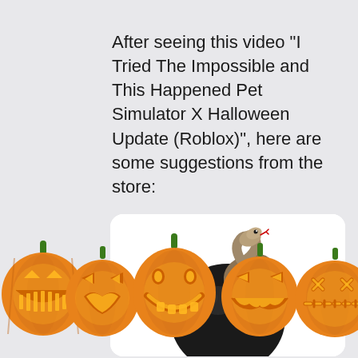After seeing this video "I Tried The Impossible and This Happened Pet Simulator X Halloween Update (Roblox)", here are some suggestions from the store:
[Figure (photo): A snake coiled on top of a dark black ball/orb, shown inside a white rounded-corner card]
[Figure (illustration): A row of six carved Halloween jack-o'-lantern pumpkins with various face designs, orange with green stems, glowing yellow from inside]